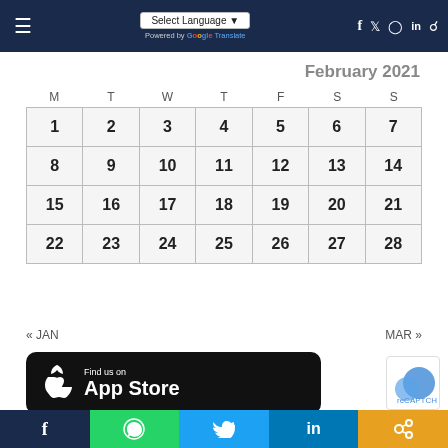Navigation bar with hamburger menu, language selector (Select Language), Google Translate, and social icons (f, twitter, instagram, in, search)
February 2021
| M | T | W | T | F | S | S |
| --- | --- | --- | --- | --- | --- | --- |
| 1 | 2 | 3 | 4 | 5 | 6 | 7 |
| 8 | 9 | 10 | 11 | 12 | 13 | 14 |
| 15 | 16 | 17 | 18 | 19 | 20 | 21 |
| 22 | 23 | 24 | 25 | 26 | 27 | 28 |
« JAN    MAR »
[Figure (logo): App Store badge: Find us on App Store with Apple logo on black background]
[Figure (other): reCAPTCHA partial widget]
Social share bar: Facebook, WhatsApp, Twitter, LinkedIn, Link